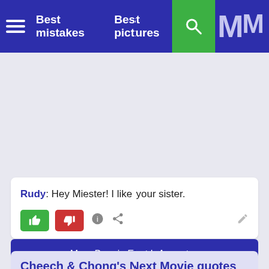Best mistakes  Best pictures
[Figure (screenshot): Gray advertisement/banner area]
Rudy: Hey Miester! I like your sister.
More Born in East L.A. quotes
Cheech & Chong's Next Movie quotes
Cheech: Shit, man, I'm gonna be late for work again.